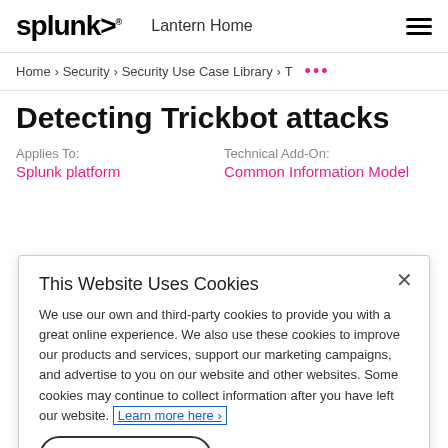splunk> Lantern Home
Home › Security › Security Use Case Library › T ...
Detecting Trickbot attacks
Applies To: Splunk platform
Technical Add-On: Common Information Model
This Website Uses Cookies
We use our own and third-party cookies to provide you with a great online experience. We also use these cookies to improve our products and services, support our marketing campaigns, and advertise to you on our website and other websites. Some cookies may continue to collect information after you have left our website. Learn more here ›
Accept Cookies   Cookies Settings ›